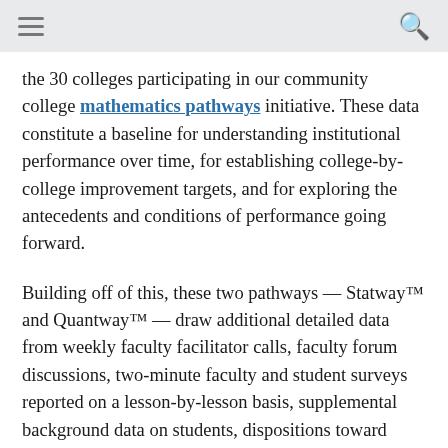the 30 colleges participating in our community college mathematics pathways initiative. These data constitute a baseline for understanding institutional performance over time, for establishing college-by-college improvement targets, and for exploring the antecedents and conditions of performance going forward.
Building off of this, these two pathways — Statway™ and Quantway™ — draw additional detailed data from weekly faculty facilitator calls, faculty forum discussions, two-minute faculty and student surveys reported on a lesson-by-lesson basis, supplemental background data on students, dispositions toward success and math tests of fundamental concepts, follow-up student surveys, data feeds from the out-of-class digital platform that include student homework and other out-of-class activities, common topical and end-of-module